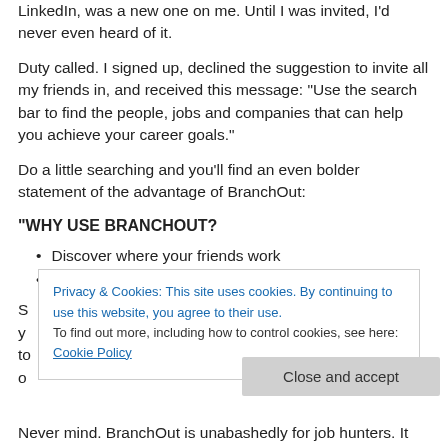LinkedIn, was a new one on me. Until I was invited, I'd never even heard of it.
Duty called. I signed up, declined the suggestion to invite all my friends in, and received this message: “Use the search bar to find the people, jobs and companies that can help you achieve your career goals.”
Do a little searching and you’ll find an even bolder statement of the advantage of BranchOut:
“WHY USE BRANCHOUT?
Discover where your friends work
Find connections at top companies”
S... y... to... o...
Never mind. BranchOut is unabashedly for job hunters. It
Privacy & Cookies: This site uses cookies. By continuing to use this website, you agree to their use.
To find out more, including how to control cookies, see here: Cookie Policy
Close and accept